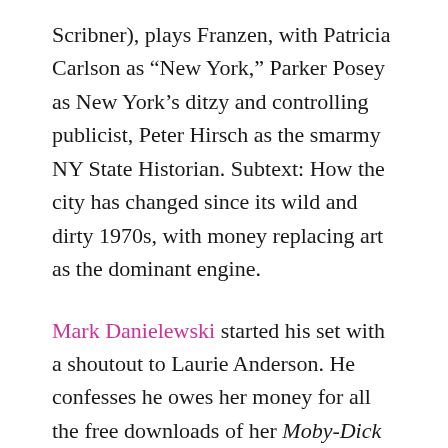Scribner), plays Franzen, with Patricia Carlson as “New York,” Parker Posey as New York’s ditzy and controlling publicist, Peter Hirsch as the smarmy NY State Historian. Subtext: How the city has changed since its wild and dirty 1970s, with money replacing art as the dominant engine.
Mark Danielewski started his set with a shoutout to Laurie Anderson. He confesses he owes her money for all the free downloads of her Moby-Dick album. He reads a spooky story called “The Fifty-year Sword,” involving a quest for a weapon created by “the man with no arms.”